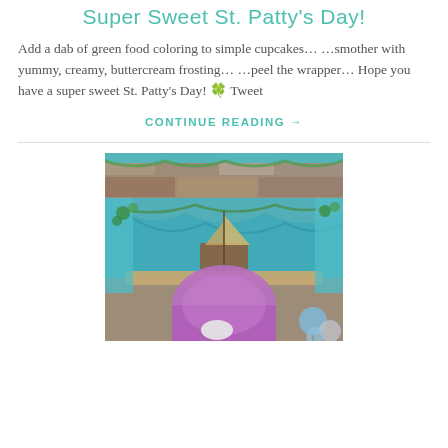Super Sweet St. Patty's Day!
Add a dab of green food coloring to simple cupcakes… …smother with yummy, creamy, buttercream frosting… …peel the wrapper… Hope you have a super sweet St. Patty's Day! 🍀 Tweet
CONTINUE READING →
[Figure (photo): Indoor party decoration scene with teal fabric draping over a table, stone wall background, a model sailboat on the table, a purple chair with rounded back in the foreground, and balloons on the right side.]